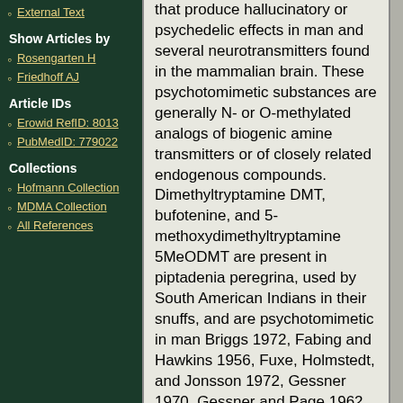External Text
Show Articles by
Rosengarten H
Friedhoff AJ
Article IDs
Erowid RefID: 8013
PubMedID: 779022
Collections
Hofmann Collection
MDMA Collection
All References
that produce hallucinatory or psychedelic effects in man and several neurotransmitters found in the mammalian brain. These psychotomimetic substances are generally N- or O-methylated analogs of biogenic amine transmitters or of closely related endogenous compounds. Dimethyltryptamine DMT, bufotenine, and 5-methoxydimethyltryptamine 5MeODMT are present in piptadenia peregrina, used by South American Indians in their snuffs, and are psychotomimetic in man Briggs 1972, Fabing and Hawkins 1956, Fuxe, Holmstedt, and Jonsson 1972, Gessner 1970, Gessner and Page 1962, Holmstedt 1965, Holmstedt and Lindgren 1967, Koslow 1974, and Szara 1956 and 1961. All of these...